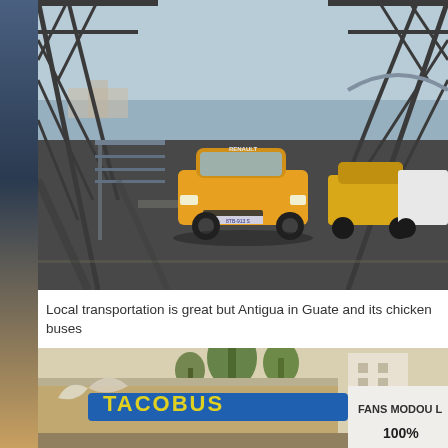[Figure (photo): Yellow Renault taxi driving across a steel truss bridge with traffic behind it. Blue sky and water visible in the background. Multiple arched steel trusses frame the scene.]
Local transportation is great but Antigua in Guate and its chicken buses
[Figure (photo): Bottom portion of a colorfully decorated vehicle or bus with text reading 'FANS MODOU L...' and '100%' visible on the side. Palm trees in background.]